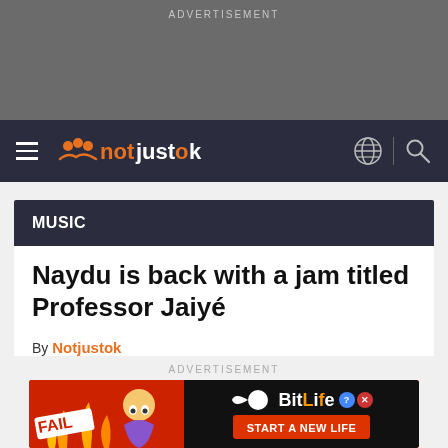ADVERTISEMENT
[Figure (other): notjustok website navigation bar with hamburger menu, logo, globe icon and search icon on dark background]
MUSIC
Naydu is back with a jam titled Professor Jaiyé
By Notjustok
October 24, 2020 | 12:00 AM
ADVERTISEMENT
[Figure (other): BitLife advertisement banner – START A NEW LIFE with cartoon fail imagery and fire]